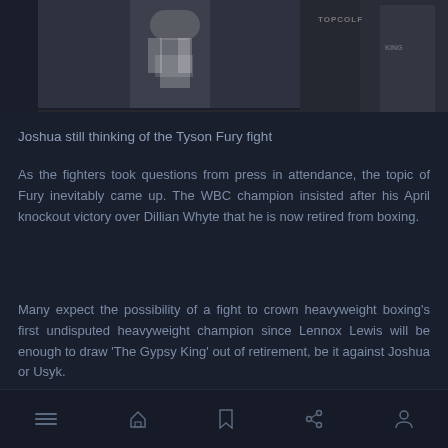[Figure (photo): Boxing photo strip showing Anthony Joshua in white shorts and gloves in center, with partial views of other fighters/persons on sides, dark arena background with TOPCOLF branding visible on right]
Joshua still thinking of the Tyson Fury fight
As the fighters took questions from press in attendance, the topic of Fury inevitably came up. The WBC champion insisted after his April knockout victory over Dillian Whyte that he is now retired from boxing.
Many expect the possibility of a fight to crown heavyweight boxing's first undisputed heavyweight champion since Lennox Lewis will be enough to draw 'The Gypsy King' out of retirement, be it against Joshua or Usyk.
Navigation bar with menu, home, bookmark, share, and profile icons